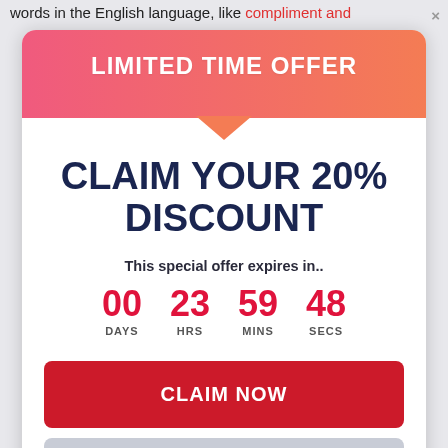words in the English language, like compliment and
LIMITED TIME OFFER
CLAIM YOUR 20% DISCOUNT
This special offer expires in..
00 DAYS  23 HRS  59 MINS  48 SECS
CLAIM NOW
No thanks